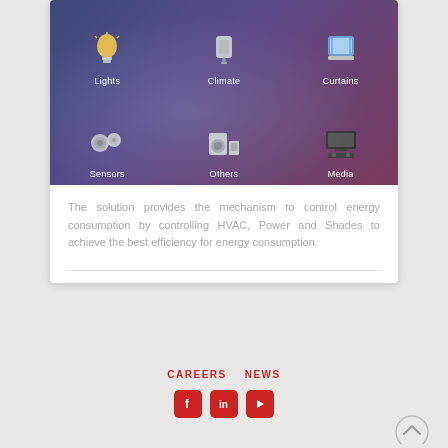[Figure (screenshot): Smart home app interface showing 6 categories in a 3x2 grid: Lights (bulb icon), Climate (remote/AC icon), Curtains (window icon), Sensors (camera/speaker icons), Others (appliances icons), Media (TV/stereo icons) — all on a dark blue-purple gradient background]
The solution provides the mechanism to control energy consumption by controlling HVAC, Power and Shades to achieve the best efficiency for energy consumption.
CAREERS  NEWS